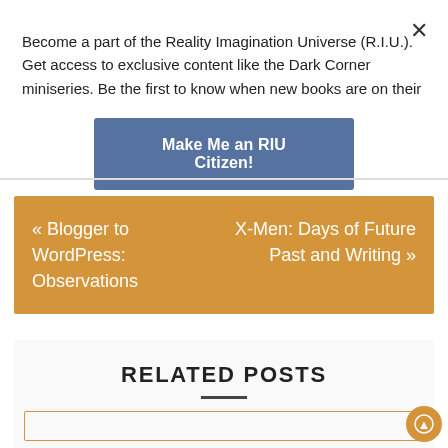Become a part of the Reality Imagination Universe (R.I.U.). Get access to exclusive content like the Dark Corner miniseries. Be the first to know when new books are on their
Make Me an RIU Citizen!
« Blogger to WordPress: Observations
X-Men: Days of Future Past and Writing »
RELATED POSTS